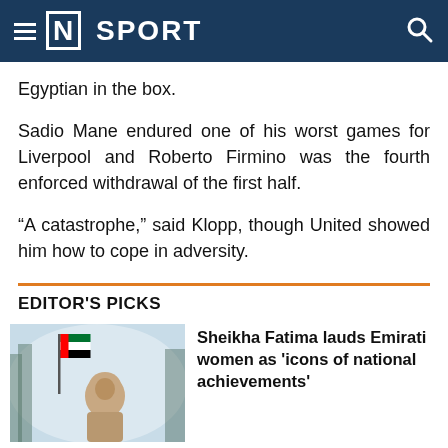[N] SPORT
Egyptian in the box.
Sadio Mane endured one of his worst games for Liverpool and Roberto Firmino was the fourth enforced withdrawal of the first half.
“A catastrophe,” said Klopp, though United showed him how to cope in adversity.
EDITOR'S PICKS
[Figure (photo): Woman in hijab standing near UAE flag in misty outdoor setting]
Sheikha Fatima lauds Emirati women as 'icons of national achievements'